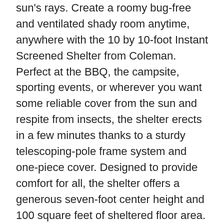sun's rays. Create a roomy bug-free and ventilated shady room anytime, anywhere with the 10 by 10-foot Instant Screened Shelter from Coleman. Perfect at the BBQ, the campsite, sporting events, or wherever you want some reliable cover from the sun and respite from insects, the shelter erects in a few minutes thanks to a sturdy telescoping-pole frame system and one-piece cover. Designed to provide comfort for all, the shelter offers a generous seven-foot center height and 100 square feet of sheltered floor area. The No-See-Um mesh walls keep insects out while the breeze can flow through, and the heavy-duty 150D poly oxford canopy offers SPF 50+ UV Guard protection from the sun's rays. Two doors make access easy. When you're ready to pack it in, the shelter collapses down as easily as it went up and is simple to store and transport in its included wheeled storage bag. The patented frame sets up in less than 60 seconds and folds down into an efficient package. Patented instant shelter frame sets up in less than 60 seconds. Simple, exclusive Coleman push button release levers. Footed poles for easy securing. Coleman steel tent pegs offer increased stability. No-see-um mesh walls protects from